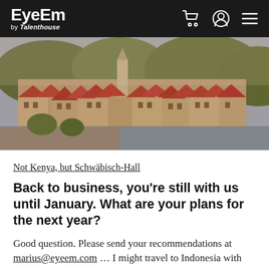EyeEm by Talenthouse
[Figure (photo): Aerial view of a European town with red-roofed buildings, a church tower, and green hills in the background — Schwäbisch Hall, Germany]
Not Kenya, but Schwäbisch-Hall
Back to business, you're still with us until January. What are your plans for the next year?
Good question. Please send your recommendations at marius@eyeem.com … I might travel to Indonesia with some Lichtathleten of mine and then stay in New